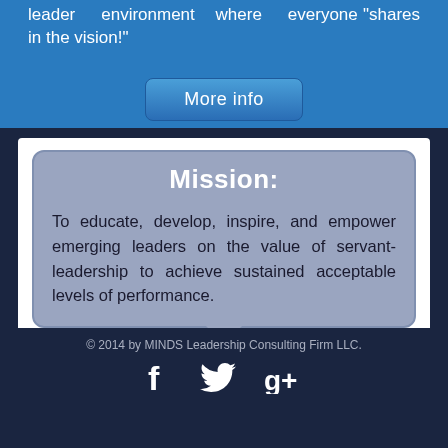leader environment where everyone "shares in the vision!"
[Figure (other): More info button (rounded rectangle, blue gradient)]
Mission:
To educate, develop, inspire, and empower emerging leaders on the value of servant-leadership to achieve sustained acceptable levels of performance.
Darryl C. Walls, Founder/CEO - MINDS Leadership Consulting Firm
Learn more
© 2014 by MINDS Leadership Consulting Firm LLC.